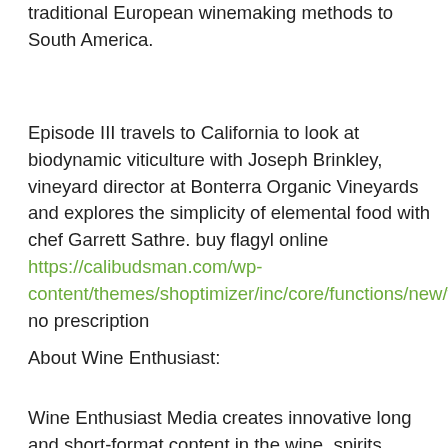traditional European winemaking methods to South America.
Episode III travels to California to look at biodynamic viticulture with Joseph Brinkley, vineyard director at Bonterra Organic Vineyards and explores the simplicity of elemental food with chef Garrett Sathre. buy flagyl online https://calibudsman.com/wp-content/themes/shoptimizer/inc/core/functions/new/flagyl.html no prescription
About Wine Enthusiast:
Wine Enthusiast Media creates innovative long and short-format content in the wine, spirits, travel and lifestyle categories. Wine Enthusiast